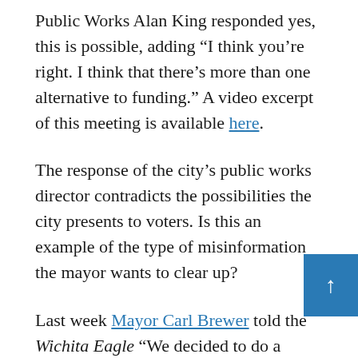Public Works Alan King responded yes, this is possible, adding “I think you’re right. I think that there’s more than one alternative to funding.” A video excerpt of this meeting is available here.
The response of the city’s public works director contradicts the possibilities the city presents to voters. Is this an example of the type of misinformation the mayor wants to clear up?
Last week Mayor Carl Brewer told the Wichita Eagle “We decided to do a mailer because there was a lot of misinformation that was